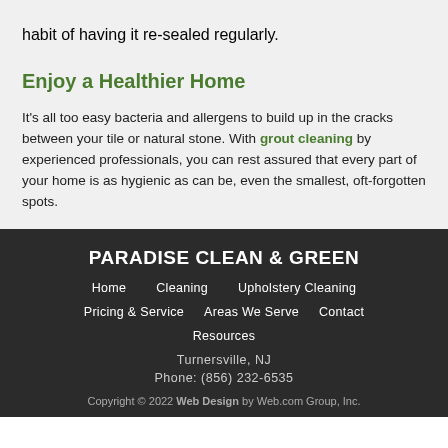habit of having it re-sealed regularly.
Enjoy a Healthier Home
It’s all too easy bacteria and allergens to build up in the cracks between your tile or natural stone. With grout cleaning by experienced professionals, you can rest assured that every part of your home is as hygienic as can be, even the smallest, oft-forgotten spots.
PARADISE CLEAN & GREEN
Home  Cleaning  Upholstery Cleaning
Pricing & Service  Areas We Serve  Contact
Resources
Turnersville, NJ
Phone: (856) 232-6535
Copyright © 2022 Web Design by Web.com Group, Inc.